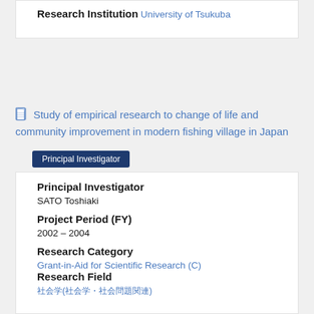Research Institution
University of Tsukuba
Study of empirical research to change of life and community improvement in modern fishing village in Japan
Principal Investigator
Principal Investigator
SATO Toshiaki
Project Period (FY)
2002 – 2004
Research Category
Grant-in-Aid for Scientific Research (C)
Research Field
社会学(社会学・社会問題関連)